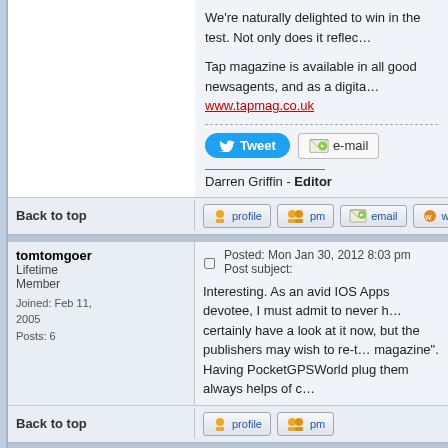We're naturally delighted to win in the test. Not only does it reflect...
Tap magazine is available in all good newsagents, and as a digital... www.tapmag.co.uk
Darren Griffin - Editor
Back to top
tomtomgoer
Lifetime Member
Joined: Feb 11, 2005
Posts: 6
Posted: Mon Jan 30, 2012 8:03 pm   Post subject:
Interesting. As an avid IOS Apps devotee, I must admit to never h... certainly have a look at it now, but the publishers may wish to re-t... magazine". Having PocketGPSWorld plug them always helps of c...
Back to top
Darren
Pocket GPS Staff
Posted: Mon Jan 30, 2012 8:13 pm   Post subject:
<cough> It's Tap! as in The App Magazine, not Taps!, no plumbin...